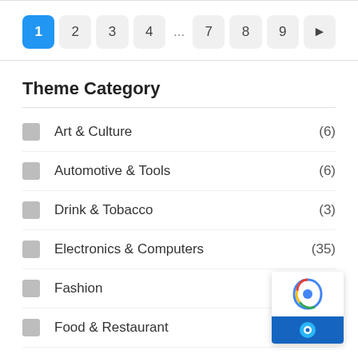Pagination: 1 2 3 4 ... 7 8 9 ►
Theme Category
Art & Culture (6)
Automotive & Tools (6)
Drink & Tobacco (3)
Electronics & Computers (35)
Fashion (142)
Food & Restaurant
Tourism & Services